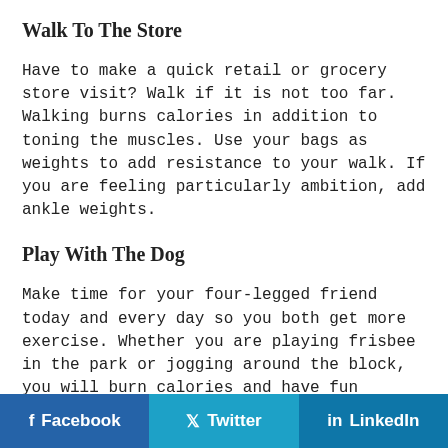Walk To The Store
Have to make a quick retail or grocery store visit? Walk if it is not too far. Walking burns calories in addition to toning the muscles. Use your bags as weights to add resistance to your walk. If you are feeling particularly ambition, add ankle weights.
Play With The Dog
Make time for your four-legged friend today and every day so you both get more exercise. Whether you are playing frisbee in the park or jogging around the block, you will burn calories and have fun besides.
For more on Phentermine pills and quick weight loss, please contact DrToHelp.com today.
Facebook  Twitter  LinkedIn